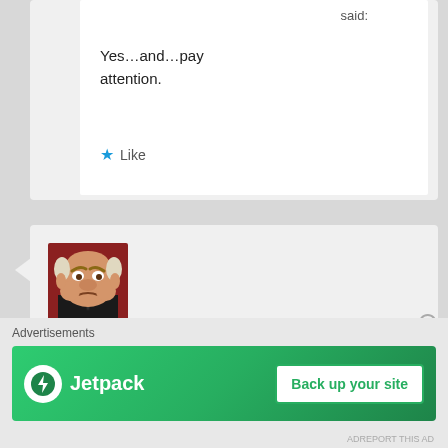said:
Yes…and…pay attention.
★ Like
[Figure (photo): Profile photo of a grumpy elderly muppet character in a suit, labeled Curmudgeon-at-Large]
Curmudgeon-at-Large on 2012-12-13 at 09:20 said:
Advertisements
[Figure (screenshot): Jetpack advertisement banner with green background showing Jetpack logo and 'Back up your site' button]